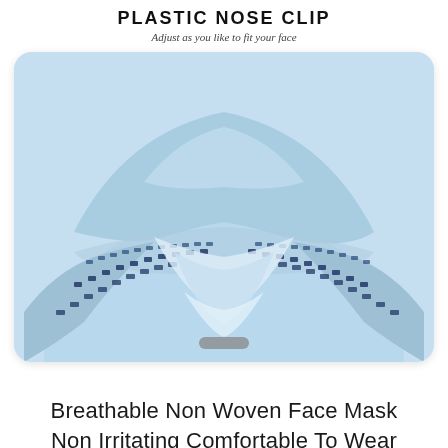PLASTIC NOSE CLIP
Adjust as you like to fit your face
[Figure (photo): Close-up photo of a blue non-woven face mask showing the plastic nose clip area with stitched dotted seam lines on the blue fabric material. A small grey oval indicator is visible at the bottom center of the image.]
Non Woven Face Mask
Breathable Non Woven Face Mask Non Irritating Comfortable To Wear